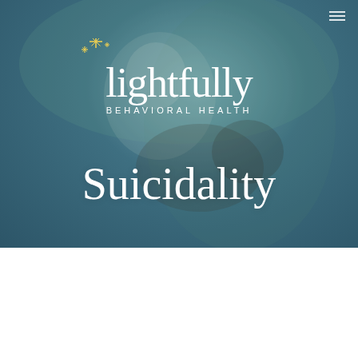[Figure (photo): A woman with blonde hair smiling and hugging a dark-colored dog outdoors, with a teal/blue overlay. The Lightfully Behavioral Health logo and 'Suicidality' title are overlaid on top of the image.]
lightfully BEHAVIORAL HEALTH
Suicidality
What Is Suicidality?